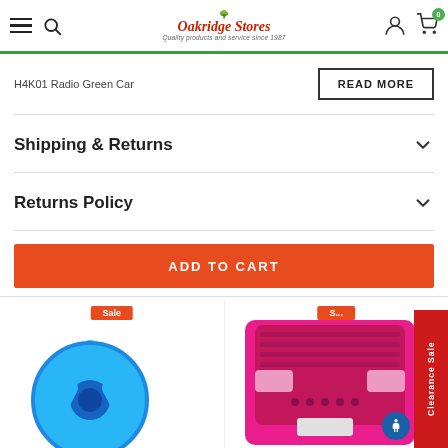Oakridge Stores — Quality products and service since 1987
H4K01 Radio Green Car...
READ MORE
Shipping & Returns
Returns Policy
ADD TO CART
[Figure (photo): Blue toy steering wheel product thumbnail with Sale badge]
[Figure (photo): Pink toy car back panel product thumbnail with Sale badge]